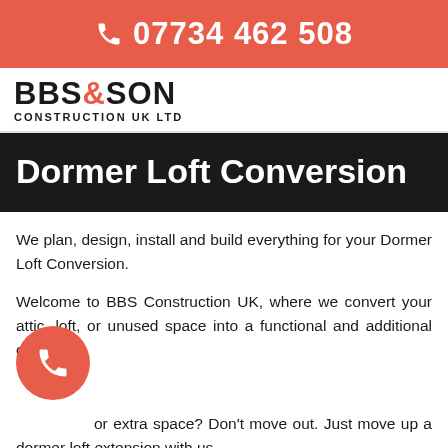07734 462 508
[Figure (logo): BBS&SON CONSTRUCTION UK LTD logo in black bold text with orange ampersand]
Dormer Loft Conversion
We plan, design, install and build everything for your Dormer Loft Conversion.
Welcome to BBS Construction UK, where we convert your attic, loft, or unused space into a functional and additional one.
Looking for extra space? Don't move out. Just move up a dormer loft extension with us.